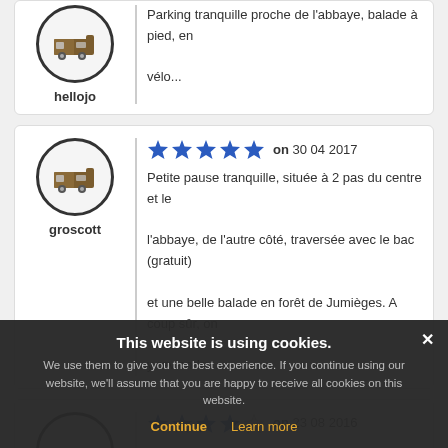[Figure (illustration): User avatar icon (motorhome/campervan) in a circle for user hellojo]
hellojo
Parking tranquille proche de l'abbaye, balade à pied, en vélo...
[Figure (illustration): User avatar icon (motorhome/campervan) in a circle for user groscott]
groscott
★★★★★ on 30 04 2017
Petite pause tranquille, située à 2 pas du centre et le l'abbaye, de l'autre côté, traversée avec le bac (gratuit) et une belle balade en forêt de Jumièges. A coup sûr, on y reviendra...
[Figure (illustration): User avatar icon (motorhome/campervan variants) in a circle for third reviewer]
★★★★☆ on 23 08 2016
This website is using cookies. We use them to give you the best experience. If you continue using our website, we'll assume that you are happy to receive all cookies on this website.
Continue  Learn more